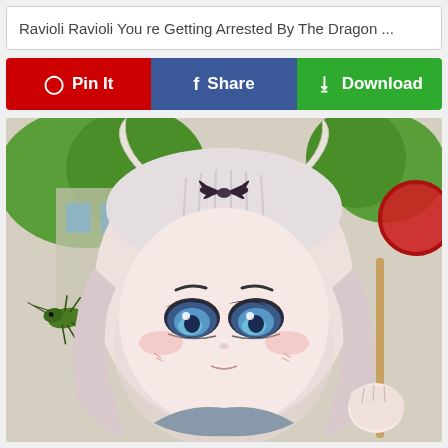Ravioli Ravioli You re Getting Arrested By The Dragon ...
[Figure (illustration): Three social sharing/action buttons: Pin It (red, Pinterest), Share (blue, Facebook), Download (green)]
[Figure (illustration): Anime illustration of a small dragon girl character (Kanna from Miss Kobayashi's Dragon Maid) with white/lavender hair, blue eyes, dragon horns, black bow hair clip, looking straight ahead with a neutral expression. Background shows green trees and a grasshopper/cricket on the left side, and a red circular object on the right.]